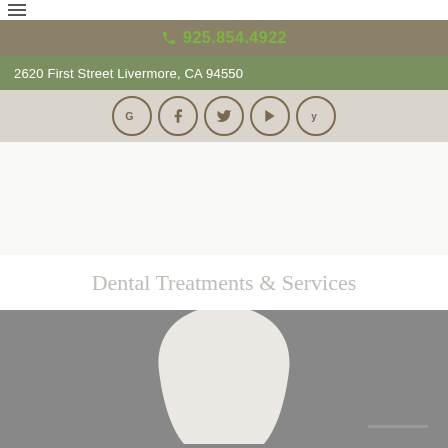Hamburger menu icon
925.854.4922
2620 First Street Livermore, CA 94550
[Figure (infographic): Social media icons: Google, Facebook, Twitter, YouTube, Yelp]
[Figure (photo): White tooth/dental crown on gray background]
Dental Treatments & Services